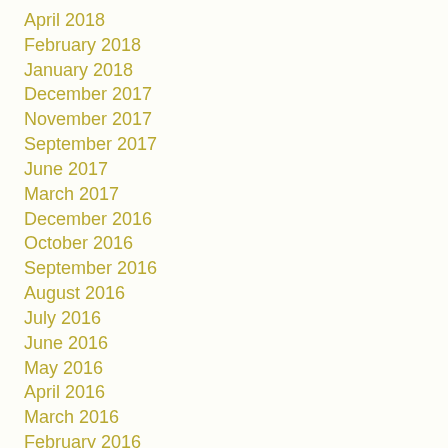April 2018
February 2018
January 2018
December 2017
November 2017
September 2017
June 2017
March 2017
December 2016
October 2016
September 2016
August 2016
July 2016
June 2016
May 2016
April 2016
March 2016
February 2016